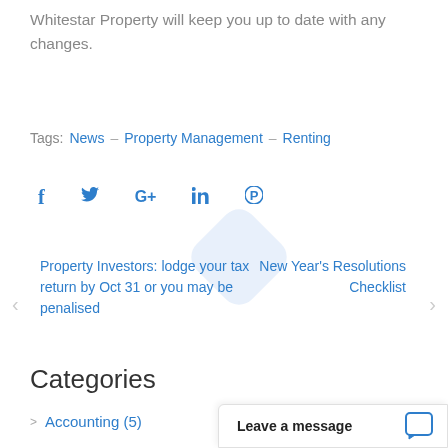Whitestar Property will keep you up to date with any changes.
Tags: News – Property Management – Renting
[Figure (other): Social media share icons: Facebook, Twitter, Google+, LinkedIn, Pinterest]
Property Investors: lodge your tax return by Oct 31 or you may be penalised
New Year's Resolutions Checklist
Categories
Accounting (5)
Leave a message